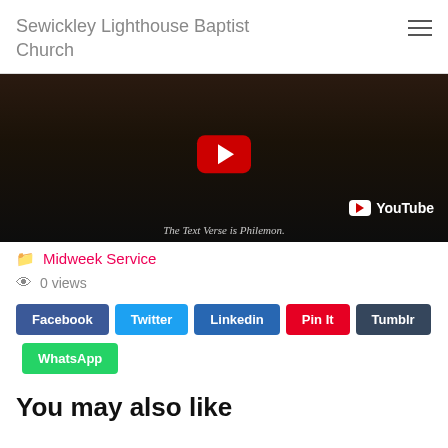Sewickley Lighthouse Baptist Church
[Figure (screenshot): YouTube video thumbnail showing a dark church interior with a red YouTube play button overlay. Text at bottom reads 'The Text Verse is Philemon.' with YouTube logo in bottom right.]
Midweek Service
0 views
Facebook | Twitter | Linkedin | Pin It | Tumblr | WhatsApp
You may also like